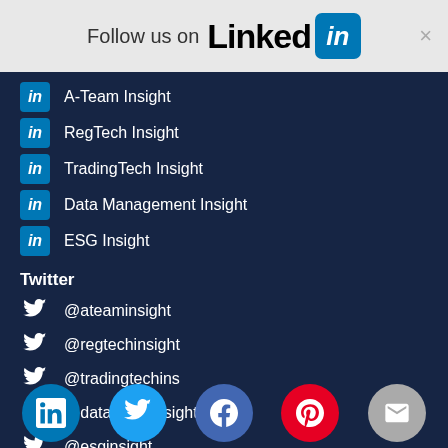Follow us on LinkedIn
A-Team Insight
RegTech Insight
TradingTech Insight
Data Management Insight
ESG Insight
Twitter
@ateaminsight
@regtechinsight
@tradingtechins
@datamgmtinsight
@esginsight
[Figure (infographic): Social media icon bar at bottom with LinkedIn, Twitter, Facebook, Pinterest, and email icons]